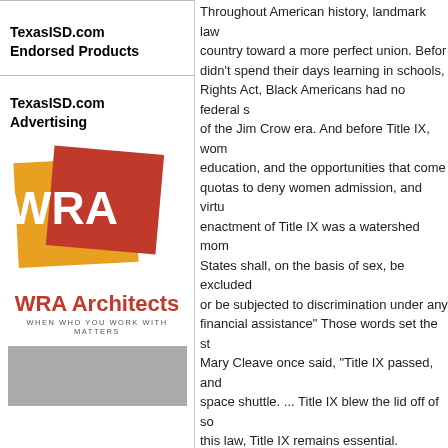TexasISD.com Endorsed Products
TexasISD.com Advertising
[Figure (logo): WRA Architects logo with orange and red overlapping squares, white WRA text, and company name below with tagline 'WHEN WHO YOU WORK WITH MATTERS']
[Figure (photo): Grayscale photo placeholder at bottom of left column]
Throughout American history, landmark law... country toward a more perfect union. Before... didn't spend their days learning in schools,... Rights Act, Black Americans had no federal s... of the Jim Crow era. And before Title IX, wom... education, and the opportunities that come... quotas to deny women admission, and virtu... enactment of Title IX was a watershed mom... States shall, on the basis of sex, be excluded... or be subjected to discrimination under any... financial assistance" Those words set the st... Mary Cleave once said, "Title IX passed, and... space shuttle. ... Title IX blew the lid off of so... this law, Title IX remains essential.
view article ›
Texas school district targets A... budget
As legislators discuss Arizona's budget, edu... investments. "So far, from what we've seen, i... investment in rainy day for what might happ...